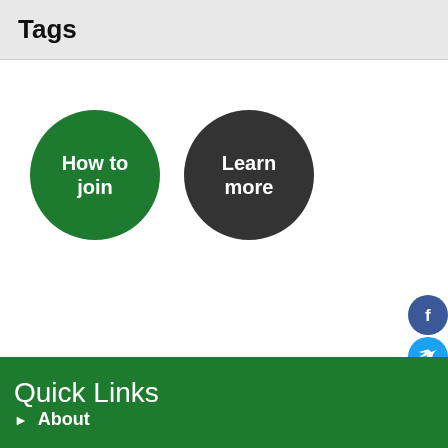Tags
[Figure (infographic): Two circular buttons: green 'How to join' button and dark gray 'Learn more' button]
Quick Links
About
[Figure (infographic): Social media icon buttons on right edge: Facebook (blue), Twitter (blue), LinkedIn (blue), YouTube (gray), Blogger (orange)]